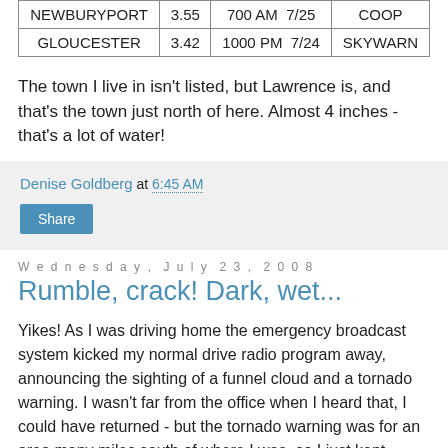|  |  |  |  |
| --- | --- | --- | --- |
| NEWBURYPORT | 3.55 | 700 AM  7/25 | COOP |
| GLOUCESTER | 3.42 | 1000 PM  7/24 | SKYWARN |
The town I live in isn't listed, but Lawrence is, and that's the town just north of here. Almost 4 inches - that's a lot of water!
Denise Goldberg at 6:45 AM
Wednesday, July 23, 2008
Rumble, crack! Dark, wet...
Yikes! As I was driving home the emergency broadcast system kicked my normal drive radio program away, announcing the sighting of a funnel cloud and a tornado warning. I wasn't far from the office when I heard that, I could have returned - but the tornado warning was for an area many miles south of where I was, so I just kept driving